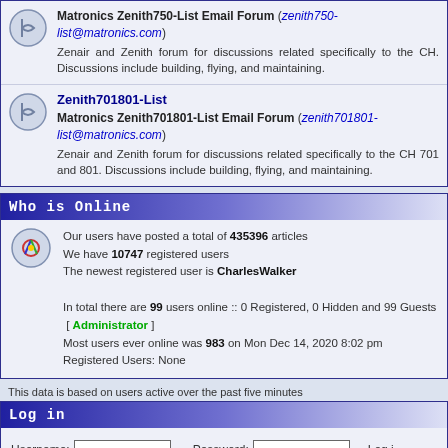Matronics Zenith750-List Email Forum (zenith750-list@matronics.com) Zenair and Zenith forum for discussions related specifically to the CH. Discussions include building, flying, and maintaining.
Zenith701801-List
Matronics Zenith701801-List Email Forum (zenith701801-list@matronics.com) Zenair and Zenith forum for discussions related specifically to the CH 701 and 801. Discussions include building, flying, and maintaining.
Who is Online
Our users have posted a total of 435396 articles
We have 10747 registered users
The newest registered user is CharlesWalker
In total there are 99 users online :: 0 Registered, 0 Hidden and 99 Guests [ Administrator ]
Most users ever online was 983 on Mon Dec 14, 2020 8:02 pm
Registered Users: None
This data is based on users active over the past five minutes
Log in
Username: [input] Password: [input] Log in
New posts     No new posts
Powered by phpBB © 2001, 2005 phpB